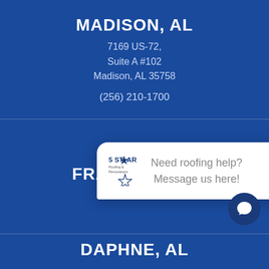MADISON, AL
7169 US-72,
Suite A #102
Madison, AL 35758
(256) 210-1700
FRANKLIN, TN
[Figure (screenshot): Chat popup with 5 Star Roofing logo and message 'Need roofing help? Message us here!' with a close button]
DAPHNE, AL